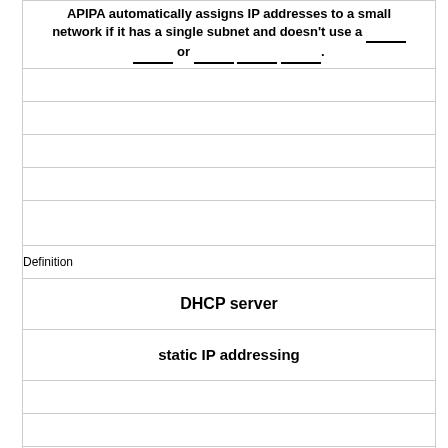APIPA automatically assigns IP addresses to a small network if it has a single subnet and doesn't use a ______ ______ or ______ _____ _______.
Definition
DHCP server
static IP addressing
Term